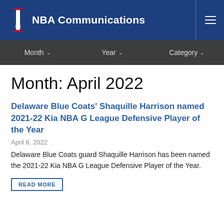NBA Communications
Month: April 2022
Delaware Blue Coats' Shaquille Harrison named 2021-22 Kia NBA G League Defensive Player of the Year
April 8, 2022
Delaware Blue Coats guard Shaquille Harrison has been named the 2021-22 Kia NBA G League Defensive Player of the Year.